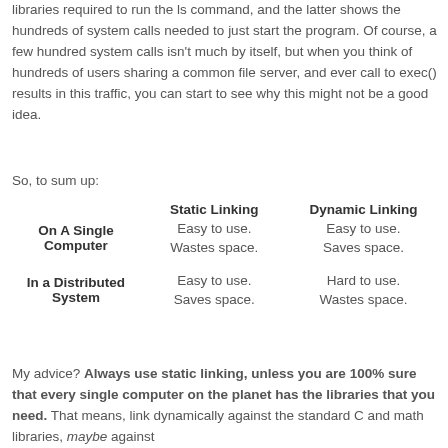libraries required to run the ls command, and the latter shows the hundreds of system calls needed to just start the program. Of course, a few hundred system calls isn't much by itself, but when you think of hundreds of users sharing a common file server, and ever call to exec() results in this traffic, you can start to see why this might not be a good idea.
So, to sum up:
|  | Static Linking | Dynamic Linking |
| --- | --- | --- |
| On A Single Computer | Easy to use.
Wastes space. | Easy to use.
Saves space. |
| In a Distributed System | Easy to use.
Saves space. | Hard to use.
Wastes space. |
My advice? Always use static linking, unless you are 100% sure that every single computer on the planet has the libraries that you need. That means, link dynamically against the standard C and math libraries, maybe against